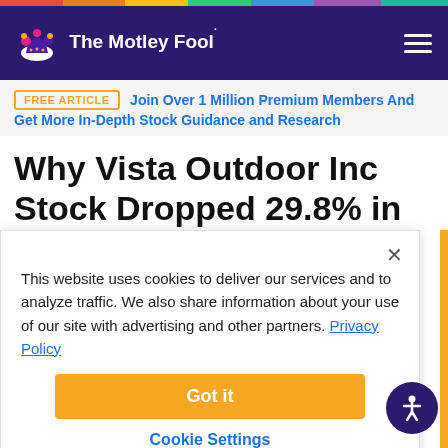The Motley Fool
FREE ARTICLE  Join Over 1 Million Premium Members And Get More In-Depth Stock Guidance and Research
Why Vista Outdoor Inc Stock Dropped 29.8% in February
This website uses cookies to deliver our services and to analyze traffic. We also share information about your use of our site with advertising and other partners. Privacy Policy
Got it
Cookie Settings